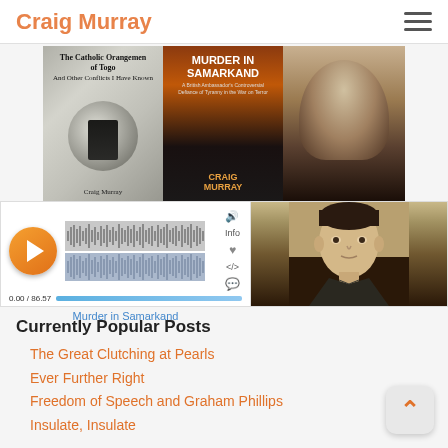Craig Murray
[Figure (illustration): Two book covers side by side: 'The Catholic Orangemen of Togo And Other Conflicts I Have Known' by Craig Murray (left) and 'Murder in Samarkand' by Craig Murray (right)]
[Figure (screenshot): Audio player widget showing a play button, waveform, time 0.00/86.57, and title 'Murder in Samarkand', alongside a portrait photo of Craig Murray]
Currently Popular Posts
The Great Clutching at Pearls
Ever Further Right
Freedom of Speech and Graham Phillips
Insulate, Insulate